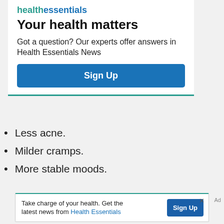[Figure (other): Health Essentials promotional sign-up box with title 'Your health matters', body text about expert answers, and a 'Sign Up' button]
Less acne.
Milder cramps.
More stable moods.
Ad
Take charge of your health. Get the latest news from Health Essentials  Sign Up